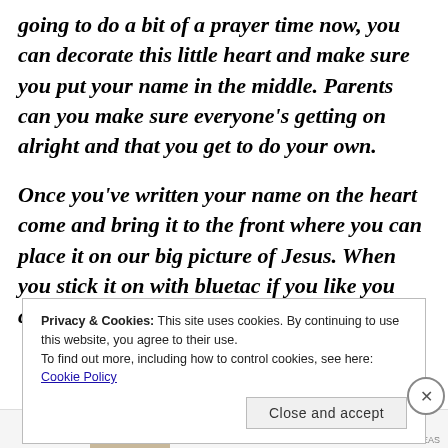going to do a bit of a prayer time now, you can decorate this little heart and make sure you put your name in the middle. Parents can you make sure everyone's getting on alright and that you get to do your own.
Once you've written your name on the heart come and bring it to the front where you can place it on our big picture of Jesus. When you stick it on with bluetac if you like you can say
Privacy & Cookies: This site uses cookies. By continuing to use this website, you agree to their use.
To find out more, including how to control cookies, see here: Cookie Policy
Close and accept